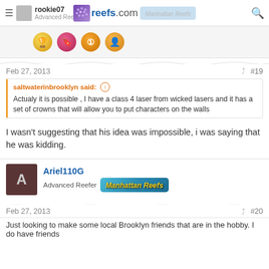rookie07 | Advanced Reefer | reefs.com
[Figure (screenshot): User badges/achievements icons row: gold trophy, pink bookmark, orange #1 medal, orange avatar badge]
Feb 27, 2013   #19
saltwaterinbrooklyn said: ↑
Actualy it is possible , I have a class 4 laser from wicked lasers and it has a set of crowns that will allow you to put characters on the walls
I wasn't suggesting that his idea was impossible, i was saying that he was kidding.
Ariel110G
Advanced Reefer   Manhattan Reefs
Feb 27, 2013   #20
Just looking to make some local Brooklyn friends that are in the hobby. I do have friends